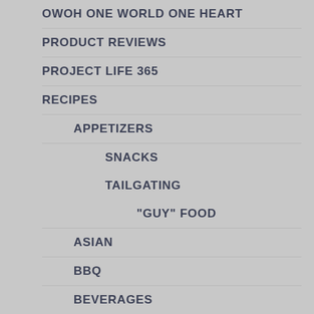OWOH ONE WORLD ONE HEART
PRODUCT REVIEWS
PROJECT LIFE 365
RECIPES
APPETIZERS
SNACKS
TAILGATING
"GUY" FOOD
ASIAN
BBQ
BEVERAGES
BRUNCH
EGGS